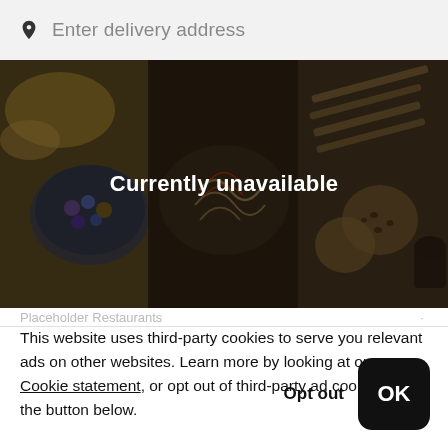Enter delivery address
[Figure (screenshot): Darkened food photograph showing various dishes and cookies with 'Currently unavailable' text overlay]
This website uses third-party cookies to serve you relevant ads on other websites. Learn more by looking at our Cookie statement, or opt out of third-party ad cookies using the button below.
Opt out
OK